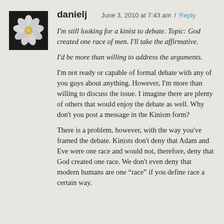[Figure (photo): Black and white photo of a flower (white petals, dark background) used as avatar/profile image for user danielj]
danielj   June 3, 2010 at 7:43 am / Reply
I'm still looking for a kinist to debate. Topic: God created one race of men. I'll take the affirmative.
I'd be more than willing to address the arguments.
I'm not ready or capable of formal debate with any of you guys about anything. However, I'm more than willing to discuss the issue. I imagine there are plenty of others that would enjoy the debate as well. Why don't you post a message in the Kinism form?
There is a problem, however, with the way you've framed the debate. Kinists don't deny that Adam and Eve were one race and would not, therefore, deny that God created one race. We don't even deny that modern humans are one “race” if you define race a certain way.